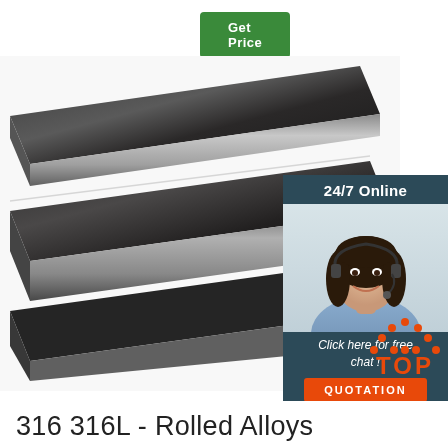[Figure (other): Green 'Get Price' button at top]
[Figure (photo): Two dark rolled alloy steel flat bars stacked at an angle on white background]
[Figure (infographic): 24/7 Online chat widget with customer service agent photo, 'Click here for free chat!' text, and orange QUOTATION button, on dark teal background]
[Figure (logo): Orange 'TOP' label with decorative dots forming a triangle shape]
316 316L - Rolled Alloys